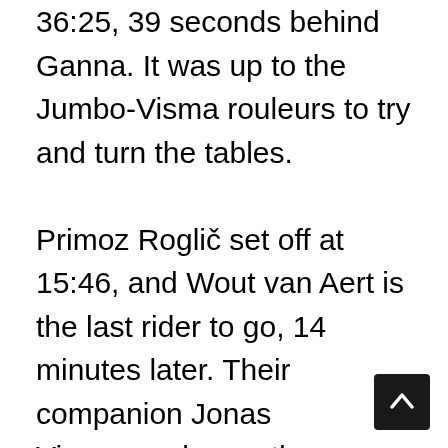36:25, 39 seconds behind Ganna. It was up to the Jumbo-Visma rouleurs to try and turn the tables.

Primoz Roglič set off at 15:46, and Wout van Aert is the last rider to go, 14 minutes later. Their companion Jonas Vingegaard gave them references as he set a time of 36:44. Van Aert was off to a flying start, 10 seconds ahead of Ganna at the first intermediate point and 18 ahead of Roglic, who finished in provisional 4th place at 42 seconds to Ganna. Van Aert is also unable to match the Italian's pace over the course, eventually losing by a mere 2 seconds. The Belgian increased his overall lead to 53 seconds ahead of Mattia Cattaneo (Quick-Step Alpha Vinyl), while Roglic moved up to 3rd